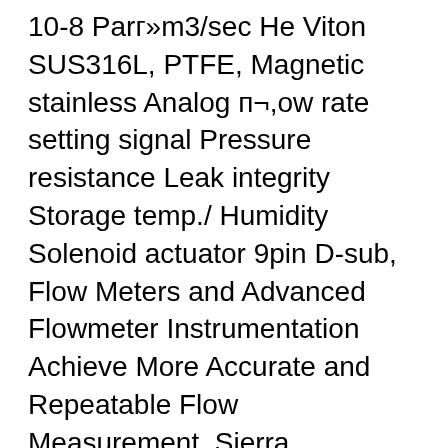10-8 Parг»m3/sec He Viton SUS316L, PTFE, Magnetic stainless Analog п¬,ow rate setting signal Pressure resistance Leak integrity Storage temp./ Humidity Solenoid actuator 9pin D-sub, Flow Meters and Advanced Flowmeter Instrumentation Achieve More Accurate and Repeatable Flow Measurement. Sierra Instruments designs and manufactures high-performance thermal mass flow meters and controllers , immersible thermal mass flowmeters, vortex flow meters and transit-time ultrasonic flow meters for nearly every gas, liquid, or steam application..
Flowmeters from Cole-Parmer. Model